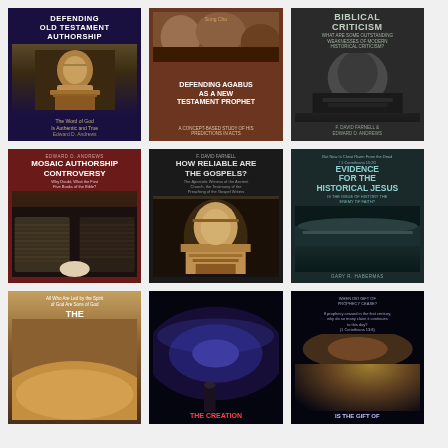[Figure (illustration): Book cover: Defending Old Testament Authorship - dark purple/navy background with image of scholar reading, subtitle 'The Word of God Is Authentic and True', author Edward D. Andrews]
[Figure (illustration): Book cover: Defending Agabus as a New Testament Prophet - brown/terracotta background with classical scene painting, subtitle 'A Concept-Based Study of His Predictions in Acts', author Sung Cho]
[Figure (illustration): Book cover: Biblical Criticism - dark gray background with black and white image of person writing, subtitle 'What Are Some Outstanding Weaknesses of Modern Historical Criticism?', authors F. David Farnell & Edward D. Andrews]
[Figure (illustration): Book cover: Mosaic Authorship Controversy - dark red/crimson background with ancient manuscript image, subtitle 'Why Doubt, What the First Five Books of the Bible?', author Edward D. Andrews]
[Figure (illustration): Book cover: How Reliable Are the Gospels? - very dark/black background with portrait of bearded man, subtitle text about ancient church and testimony of the gospel writers, author F. David Farnell]
[Figure (illustration): Book cover: Evidence for the Historical Jesus - dark teal background with landscape image, subtitle 'Is the Issue of History the Enemy of Faith?', author Gary R. Habermas, top text 'But Now Is Christ Risen From the Dead / 1 Corinthians 15:20']
[Figure (illustration): Book cover: The [title cut off] - warm golden/brown gradient sky with clouds, text 'All Who Are Led by the Spirit of God Are Sons of God']
[Figure (illustration): Book cover: The Creation [title cut off] - dark space/galaxy background with silhouette of person looking at Milky Way, red title text]
[Figure (illustration): Book cover: Is the Gift of Prophecy Ceased? [title cut off] - dark space/nebula background with golden/orange tones, subtitle text about prophecy]